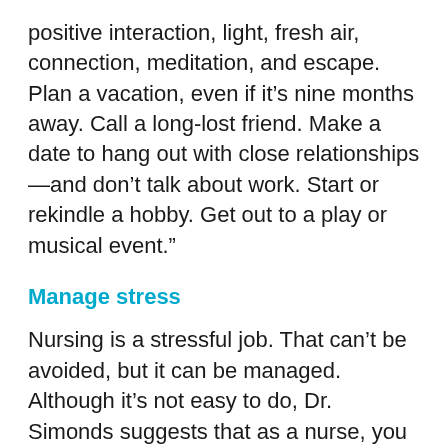positive interaction, light, fresh air, connection, meditation, and escape. Plan a vacation, even if it’s nine months away. Call a long-lost friend. Make a date to hang out with close relationships—and don’t talk about work. Start or rekindle a hobby. Get out to a play or musical event.”
Manage stress
Nursing is a stressful job. That can’t be avoided, but it can be managed. Although it’s not easy to do, Dr. Simonds suggests that as a nurse, you should focus on the good instead of the bad.
“We tend to recount the horrors of our days